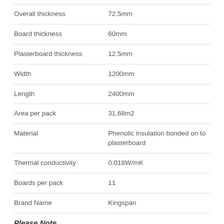| Property | Value |
| --- | --- |
| Overall thickness | 72.5mm |
| Board thickness | 60mm |
| Plasterboard thickness | 12.5mm |
| Width | 1200mm |
| Length | 2400mm |
| Area per pack | 31.68m2 |
| Material | Phenolic insulation bonded on to plasterboard |
| Thermal conductivity | 0.018W/mK |
| Boards per pack | 11 |
| Brand Name | Kingspan |
Please Note